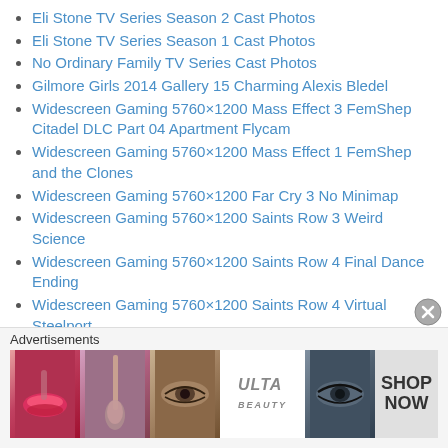Eli Stone TV Series Season 2 Cast Photos
Eli Stone TV Series Season 1 Cast Photos
No Ordinary Family TV Series Cast Photos
Gilmore Girls 2014 Gallery 15 Charming Alexis Bledel
Widescreen Gaming 5760×1200 Mass Effect 3 FemShep Citadel DLC Part 04 Apartment Flycam
Widescreen Gaming 5760×1200 Mass Effect 1 FemShep and the Clones
Widescreen Gaming 5760×1200 Far Cry 3 No Minimap
Widescreen Gaming 5760×1200 Saints Row 3 Weird Science
Widescreen Gaming 5760×1200 Saints Row 4 Final Dance Ending
Widescreen Gaming 5760×1200 Saints Row 4 Virtual Steelport
Widescreen Gaming 5760×1200 Saints Row 4 Let's Pretend Easter Egg Dildo Cave
Widescreen Gaming 5760×1200 Saints Row 4 Void UFO, Airport, Wild West Pack
Widescreen Gaming 5760×1200 Saints Row 4 The... (partially visible)
Advertisements
[Figure (other): ULTA Beauty advertisement banner with makeup imagery (lips, brush, eye, logo, shop now)]